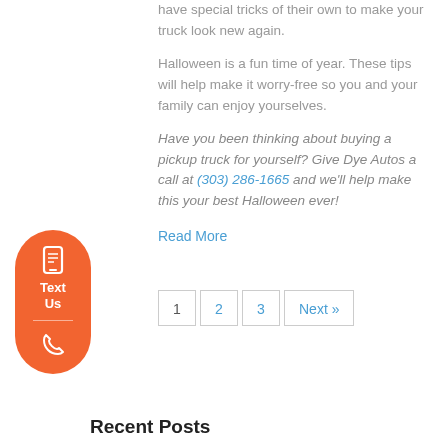have special tricks of their own to make your truck look new again.
Halloween is a fun time of year. These tips will help make it worry-free so you and your family can enjoy yourselves.
Have you been thinking about buying a pickup truck for yourself? Give Dye Autos a call at (303) 286-1665 and we'll help make this your best Halloween ever!
Read More
[Figure (other): Orange rounded pill-shaped floating button with phone/text icon, label 'Text Us', divider, and phone call icon]
1
2
3
Next »
Recent Posts